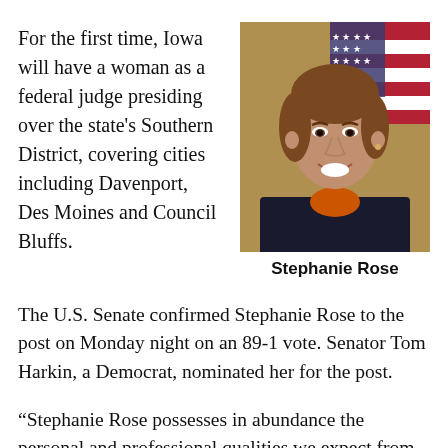For the first time, Iowa will have a woman as a federal judge presiding over the state's Southern District, covering cities including Davenport, Des Moines and Council Bluffs.
[Figure (photo): Portrait photo of Stephanie Rose, a woman with brown hair, wearing a black jacket and orange shirt, with an American flag in the background.]
Stephanie Rose
The U.S. Senate confirmed Stephanie Rose to the post on Monday night on an 89-1 vote. Senator Tom Harkin, a Democrat, nominated her for the post.
“Stephanie Rose possesses in abundance the personal and professional qualities we expect from those that we consider to take on the